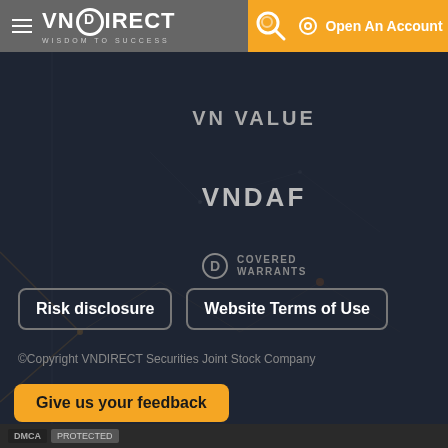[Figure (logo): VNDirect logo with hamburger menu icon, search icon, and Open An Account button on orange background]
VN VALUE
VNDAF
[Figure (logo): D Covered Warrants logo icon with circular D and text COVERED WARRANTS]
Risk disclosure
Website Terms of Use
©Copyright VNDIRECT Securities Joint Stock Company
Give us your feedback
DMCA PROTECTED